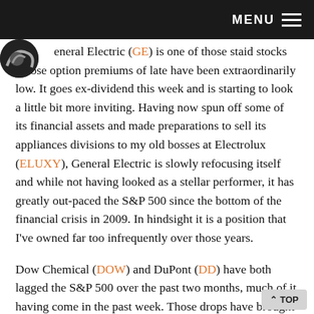MENU
General Electric (GE) is one of those staid stocks whose option premiums of late have been extraordinarily low. It goes ex-dividend this week and is starting to look a little bit more inviting. Having now spun off some of its financial assets and made preparations to sell its appliances divisions to my old bosses at Electrolux (ELUXY), General Electric is slowly refocusing itself and while not having looked as a stellar performer, it has greatly out-paced the S&P 500 since the bottom of the financial crisis in 2009. In hindsight it is a position that I've owned far too infrequently over those years.
Dow Chemical (DOW) and DuPont (DD) have both lagged the S&P 500 over the past two months, much of it having come in the past week. Those drops have brought shares back to levels that I would entertain share re-purchases.